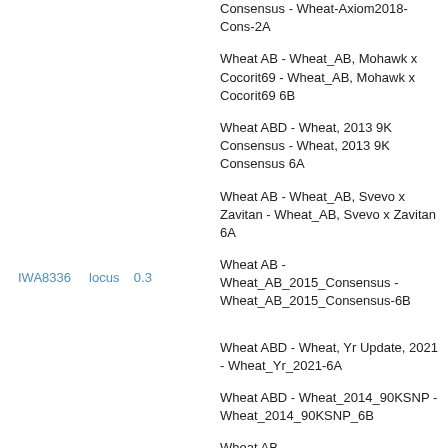Consensus - Wheat-Axiom2018-Cons-2A
Wheat AB - Wheat_AB, Mohawk x Cocorit69 - Wheat_AB, Mohawk x Cocorit69 6B
Wheat ABD - Wheat, 2013 9K Consensus - Wheat, 2013 9K Consensus 6A
Wheat AB - Wheat_AB, Svevo x Zavitan - Wheat_AB, Svevo x Zavitan 6A
Wheat AB - Wheat_AB_2015_Consensus - Wheat_AB_2015_Consensus-6B
IWA8336    locus    0.3
Wheat ABD - Wheat, Yr Update, 2021 - Wheat_Yr_2021-6A
Wheat ABD - Wheat_2014_90KSNP - Wheat_2014_90KSNP_6B
Wheat AB - Wheat_AB_2015_Consensus - Wheat_AB_2015_Consensus-6A
Wheat ABD - Wheat, Axiom 2018, Consensus - Wheat-Axiom2018-Cons-